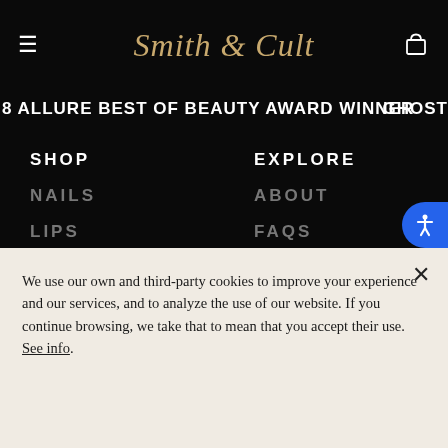Smith & Cult
8 ALLURE BEST OF BEAUTY AWARD WINNER   GHOST
SHOP
NAILS
LIPS
SHOP ALL
GIFTS & SETS
EXPLORE
ABOUT
FAQS
SHADE FINDER
We use our own and third-party cookies to improve your experience and our services, and to analyze the use of our website. If you continue browsing, we take that to mean that you accept their use. See info.